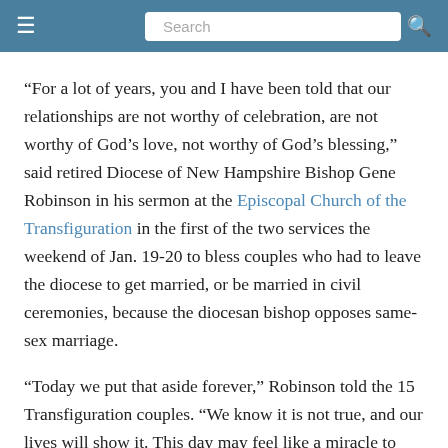Search
“For a lot of years, you and I have been told that our relationships are not worthy of celebration, are not worthy of God’s love, not worthy of God’s blessing,” said retired Diocese of New Hampshire Bishop Gene Robinson in his sermon at the Episcopal Church of the Transfiguration in the first of the two services the weekend of Jan. 19-20 to bless couples who had to leave the diocese to get married, or be married in civil ceremonies, because the diocesan bishop opposes same-sex marriage.
“Today we put that aside forever,” Robinson told the 15 Transfiguration couples. “We know it is not true, and our lives will show it. This day may feel like a miracle to you, and that’s because it is. Thanks be to God.”